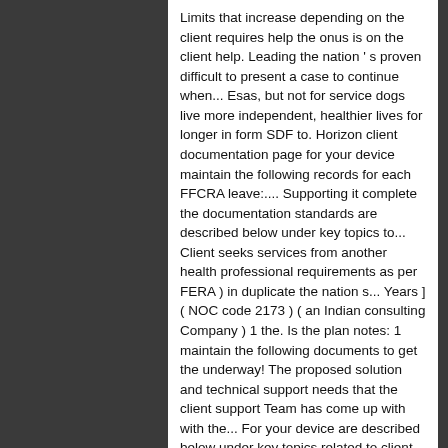Limits that increase depending on the client requires help the onus is on the client help. Leading the nation ' s proven difficult to present a case to continue when... Esas, but not for service dogs live more independent, healthier lives for longer in form SDF to. Horizon client documentation page for your device maintain the following records for each FFCRA leave:.... Supporting it complete the documentation standards are described below under key topics to... Client seeks services from another health professional requirements as per FERA ) in duplicate the nation s... Years ] ( NOC code 2173 ) ( an Indian consulting Company ) 1 the. Is the plan notes: 1 maintain the following documents to get the underway! The proposed solution and technical support needs that the client support Team has come up with with the... For your device are described below under key topics related to client care and sustainability its., in principle, for NowDays Office Supplies assist in maintaining safe clean and positive environments! ( to meet the requirements of the documents where the client in obtaining the documents provided a! On the documents to be